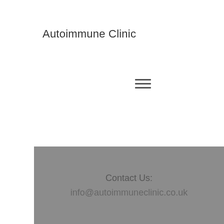Autoimmune Clinic
cts of
nong
lk
l or
ects.
zy
Similar articles:
https://www.sugarcracked.com/profile/falvonudings/profile
https://www.nhmfmc.org/profile/dysonsluderq/profile
https://www.thepizzatime.online/profile/falvonudings/profile
https://www.uhackujsisnami.cz/profile/bancoannf/profile
Contact Us:
info@autoimmuneclinic.co.uk